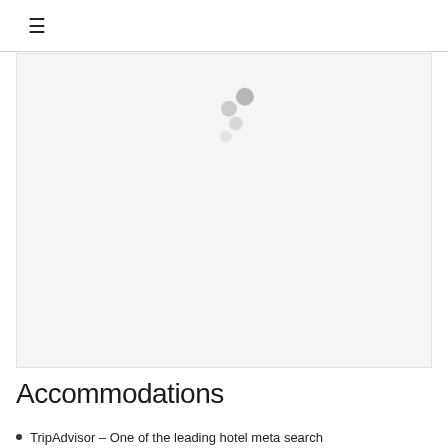≡
[Figure (other): Loading spinner with scattered dots in a gray content area placeholder]
Accommodations
TripAdvisor – One of the leading hotel meta search